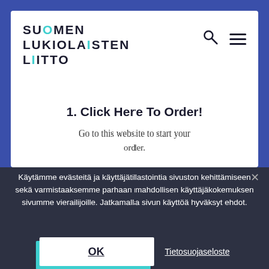[Figure (logo): Suomen Lukiolaisten Liitto logo with teal accent on letter O]
1. Click Here To Order!
Go to this website to start your order.
Käytämme evästeitä ja käyttäjätilastointia sivuston kehittämiseen sekä varmistaaksemme parhaan mahdollisen käyttäjäkokemuksen sivumme vierailijoille. Jatkamalla sivun käyttöä hyväksyt ehdot.
OK
Tietosuojaseloste